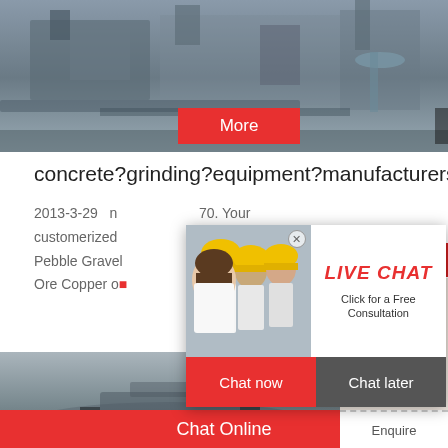[Figure (photo): Industrial machinery/equipment in a factory setting, gray tones]
More
Online Chat
concrete?grinding?equipment?manufacturers
2013-3-29    n                                 70.  Your
customerized
Pebble Gravel
Ore Copper o
hrs Online
[Figure (photo): Live chat popup with workers in hard hats and customer service representative]
LIVE CHAT
Click for a Free Consultation
Chat now
Chat later
[Figure (photo): Industrial grinding/milling equipment, bottom image]
[Figure (photo): Customer service woman with headset]
Need questions & suggestion?
Chat Now
Chat Online
Enquire